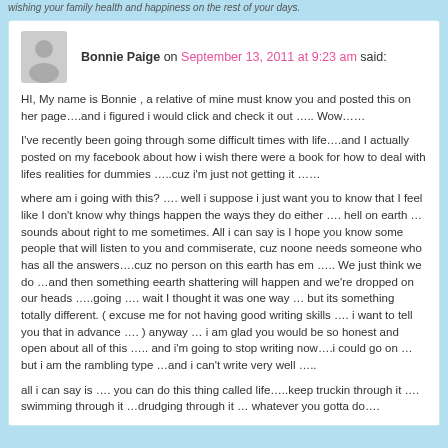wishing your family health and happiness on the rest of your days.
Bonnie Paige on September 13, 2011 at 9:23 am said:
HI, My name is Bonnie , a relative of mine must know you and posted this on her page….and i figured i would click and check it out ….. Wow……
I've recently been going through some difficult times with life….and I actually posted on my facebook about how i wish there were a book for how to deal with lifes realities for dummies …..cuz i'm just not getting it ……
where am i going with this? …. well i suppose i just want you to know that I feel like I don't know why things happen the ways they do either …. hell on earth …sounds about right to me sometimes. All i can say is I hope you know some people that will listen to you and commiserate, cuz noone needs someone who has all the answers….cuz no person on this earth has em ….. We just think we do …and then something eearth shattering will happen and we're dropped on our heads …..going …. wait I thought it was one way … but its something totally different. ( excuse me for not having good writing skills …. i want to tell you that in advance …. ) anyway … i am glad you would be so honest and open about all of this ….. and i'm going to stop writing now….i could go on …but i am the rambling type …and i can't write very well …..
all i can say is …. you can do this thing called life…..keep truckin through it …. swimming through it …drudging through it … whatever you gotta do….